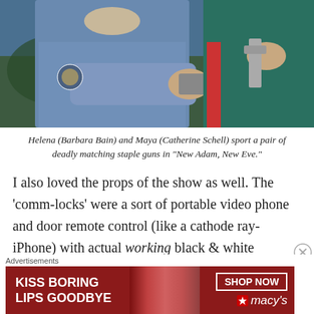[Figure (photo): Photo of Helena (Barbara Bain) and Maya (Catherine Schell) holding prop staple guns, from the TV episode 'New Adam, New Eve'.]
Helena (Barbara Bain) and Maya (Catherine Schell) sport a pair of deadly matching staple guns in “New Adam, New Eve.”
I also loved the props of the show as well. The ‘comm-locks’ were a sort of portable video phone and door remote control (like a cathode ray-iPhone) with actual working black & white monitors on the ‘hero’ versions of the props. Also loved the Alpha laser guns as well
Advertisements
[Figure (other): Advertisement banner: KISS BORING LIPS GOODBYE, SHOP NOW, macys]